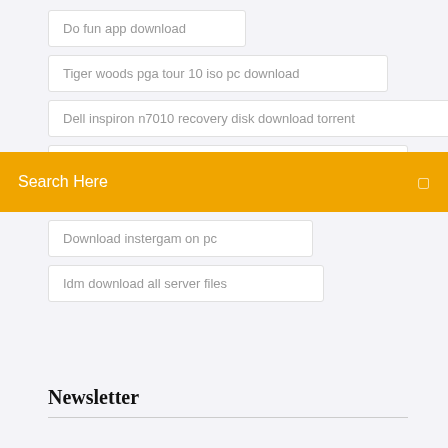Do fun app download
Tiger woods pga tour 10 iso pc download
Dell inspiron n7010 recovery disk download torrent
(truncated text)
Search Here
Download instergam on pc
Idm download all server files
Newsletter